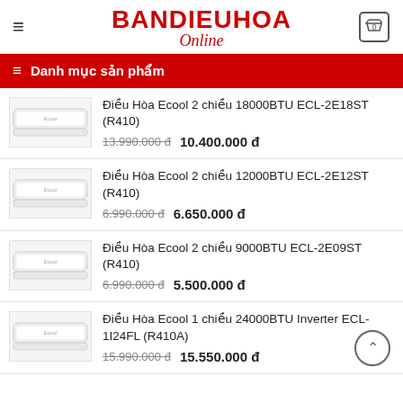BANDIEUHOA Online
Danh mục sản phẩm
Điều Hòa Ecool 2 chiều 18000BTU ECL-2E18ST (R410) — 13.990.000 đ / 10.400.000 đ
Điều Hòa Ecool 2 chiều 12000BTU ECL-2E12ST (R410) — 6.990.000 đ / 6.650.000 đ
Điều Hòa Ecool 2 chiều 9000BTU ECL-2E09ST (R410) — 6.990.000 đ / 5.500.000 đ
Điều Hòa Ecool 1 chiều 24000BTU Inverter ECL-1I24FL (R410A) — 15.990.000 đ / 15.550.000 đ